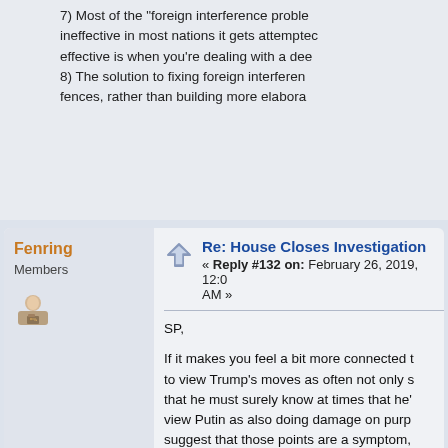7) Most of the "foreign interference proble... ineffective in most nations it gets attempted... effective is when you're dealing with a dee...
8) The solution to fixing foreign interferen... fences, rather than building more elabora...
Fenring
Members
Re: House Closes Investigation
« Reply #132 on: February 26, 2019, 12:0... AM »
SP,

If it makes you feel a bit more connected t... to view Trump's moves as often not only s... that he must surely know at times that he'... view Putin as also doing damage on purp... suggest that those points are a symptom,... these issues wouldn't be such series issu... mutual cooperation for governance, wher... agenda on board, while the other was abo... would be how to implement both sets of d... that's practically the UPF from Trek, but s... cooperate. So when they don't it can only... to do their jobs; or they have no intention...